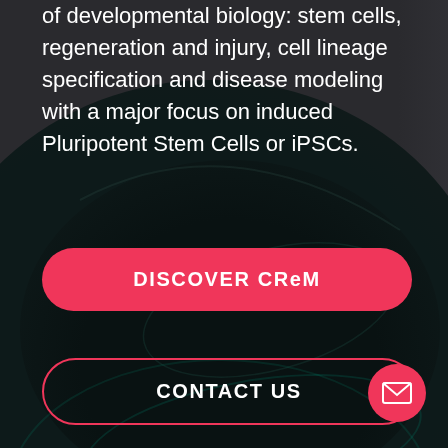of developmental biology: stem cells, regeneration and injury, cell lineage specification and disease modeling with a major focus on induced Pluripotent Stem Cells or iPSCs.
DISCOVER CReM
CONTACT US
[Figure (illustration): Dark circular/elliptical cell or globe graphic with teal tones and subtle arc highlights on a dark gray background, with a pink email button in the bottom-right corner.]